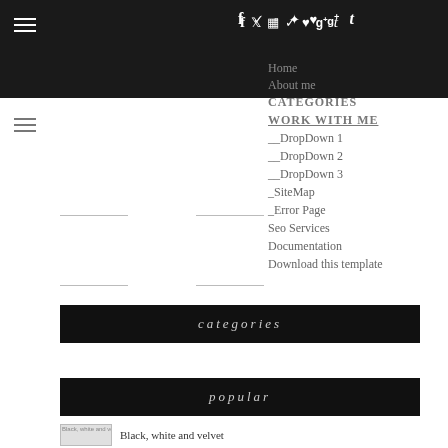Navigation bar with social icons: f, twitter, instagram, pinterest, heart, g+, t
Home
About me
CATEGORIES
WORK WITH ME
__DropDown 1
__DropDown 2
__DropDown 3
_SiteMap
_Error Page
Seo Services
Documentation
Download this template
categories
popular
Black, white and velvet  Black, white and velvet